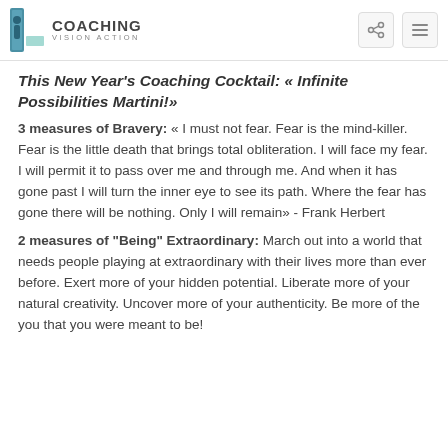COACHING VISION ACTION
This New Year's Coaching Cocktail: « Infinite Possibilities Martini!»
3 measures of Bravery: « I must not fear. Fear is the mind-killer. Fear is the little death that brings total obliteration. I will face my fear. I will permit it to pass over me and through me. And when it has gone past I will turn the inner eye to see its path. Where the fear has gone there will be nothing. Only I will remain» - Frank Herbert
2 measures of "Being" Extraordinary: March out into a world that needs people playing at extraordinary with their lives more than ever before. Exert more of your hidden potential. Liberate more of your natural creativity. Uncover more of your authenticity. Be more of the you that you were meant to be!